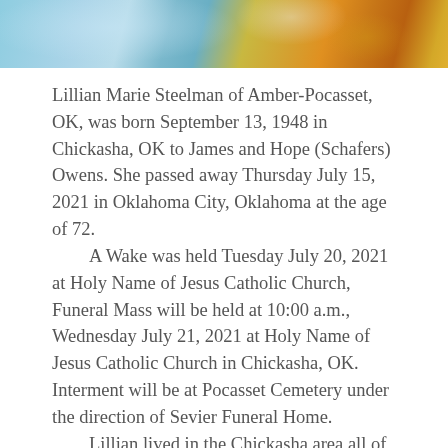[Figure (photo): Partial landscape photo showing blue sky and colorful autumn foliage, cropped at the top of the page]
Lillian Marie Steelman of Amber-Pocasset, OK, was born September 13, 1948 in Chickasha, OK to James and Hope (Schafers) Owens. She passed away Thursday July 15, 2021 in Oklahoma City, Oklahoma at the age of 72.
    A Wake was held Tuesday July 20, 2021 at Holy Name of Jesus Catholic Church, Funeral Mass will be held at 10:00 a.m., Wednesday July 21, 2021 at Holy Name of Jesus Catholic Church in Chickasha, OK. Interment will be at Pocasset Cemetery under the direction of Sevier Funeral Home.
    Lillian lived in the Chickasha area all of her life. In 1966 she graduated from Amber-Pocasset High School, in 1994...